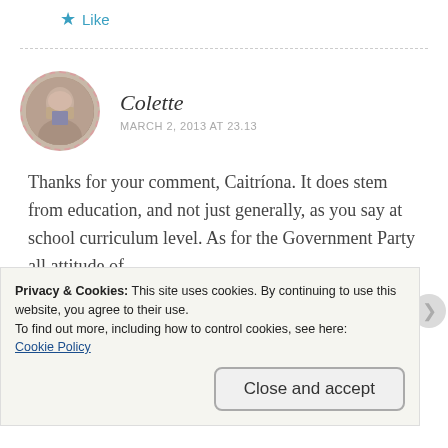★ Like
Colette
MARCH 2, 2013 AT 23.13
Thanks for your comment, Caitríona. It does stem from education, and not just generally, as you say at school curriculum level. As for the Government Party all attitude of
Privacy & Cookies: This site uses cookies. By continuing to use this website, you agree to their use.
To find out more, including how to control cookies, see here:
Cookie Policy
Close and accept